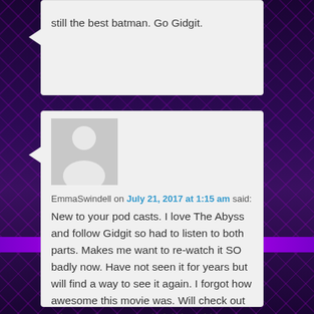still the best batman. Go Gidgit.
[Figure (illustration): User avatar placeholder — gray rectangle with white silhouette of a person]
EmmaSwindell on July 21, 2017 at 1:15 am said:
New to your pod casts. I love The Abyss and follow Gidgit so had to listen to both parts. Makes me want to re-watch it SO badly now. Have not seen it for years but will find a way to see it again. I forgot how awesome this movie was. Will check out other pod casts. Total eighties girl here.
[Figure (illustration): Second user avatar placeholder — gray rectangle with white silhouette of a person, partially visible]